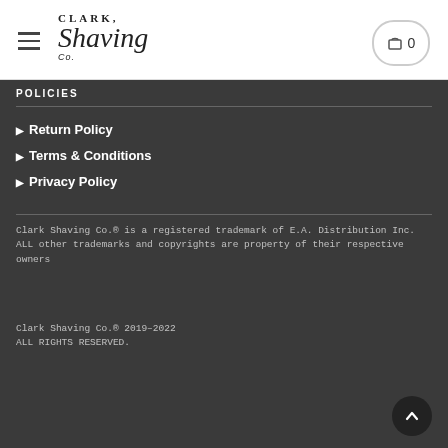[Figure (logo): Clark Shaving Co. logo with hamburger menu and cart button in white header]
POLICIES
▶ Return Policy
▶ Terms & Conditions
▶ Privacy Policy
Clark Shaving Co.® is a registered trademark of E.A. Distribution Inc.
ALL other trademarks and copyrights are property of their respective owners
Clark Shaving Co.® 2019–2022
ALL RIGHTS RESERVED.